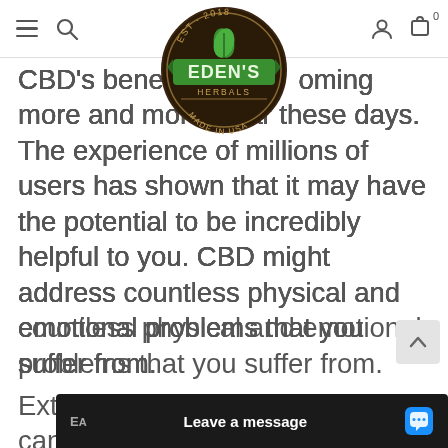Eden's Herbals — Est. 2018, Made in USA — navigation bar with hamburger menu, search, user, and cart icons
[Figure (logo): Eden's Herbals circular logo — dark brown circle with green banner reading EDEN'S, text EST. 2018 at top, HERBALS below brand name, MADE IN USA at bottom, green leaf graphic in center]
CBD's benefits are becoming more and more clear these days. The experience of millions of users has shown that it may have the potential to be incredibly helpful to you. CBD might address countless physical and emotional problems that you suffer from.
Extracted from either hemp or cannabis p
[Figure (other): Back to top arrow button — light grey rounded square with upward chevron arrow]
[Figure (screenshot): Chat widget bar at bottom — dark background with 'EA' label on left, 'Leave a message' text in white, blue chat bubble icon on right]